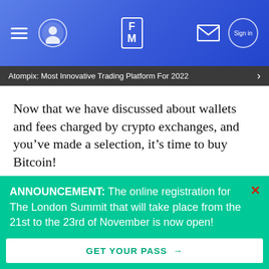[Figure (screenshot): Website navigation bar with hamburger menu, avatar icon, FM logo, mail icon, and sign in button on a blue gradient background]
Atompix: Most Innovative Trading Platform For 2022
Now that we have discussed about wallets and fees charged by crypto exchanges, and you've made a selection, it's time to buy Bitcoin!
There are tons of ways you could buy Bitcoin. We'll discuss some of the main ones below.
ANNOUNCEMENT: The online registration for The London Summit that will take place from the 21st to the 23rd of November is now open!
GET YOUR PASS →